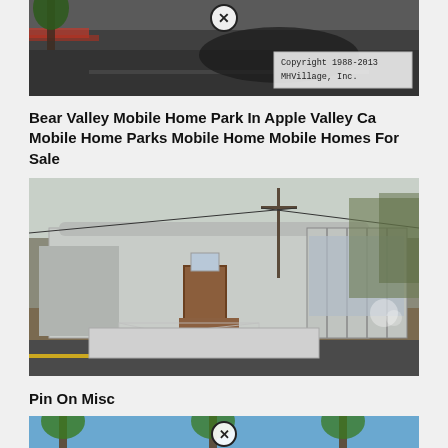[Figure (photo): Aerial/street view photo of a mobile home park driveway with palm tree visible, with a Copyright 1988-2013 MHVillage, Inc. watermark overlay and a close (X) button at the top center.]
Bear Valley Mobile Home Park In Apple Valley Ca Mobile Home Parks Mobile Home Mobile Homes For Sale
[Figure (photo): Street-level photo of an old, worn single-wide mobile home with wooden steps, lattice skirting, and a sunroom addition on the right side, set on a dirt/grass lot.]
Pin On Misc
[Figure (photo): Partial view of a mobile home park with palm trees and blue sky, with a close (X) button at the top center.]